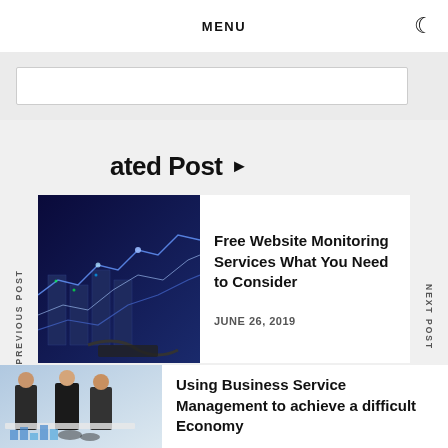MENU
ated Post ▶
PREVIOUS POST
NEXT POST
[Figure (photo): Technology server room with blue digital graph lines overlay]
Free Website Monitoring Services What You Need to Consider
JUNE 26, 2019
[Figure (photo): Business people in suits looking at charts and documents on a table]
Using Business Service Management to achieve a difficult Economy
JUNE 22, 2019